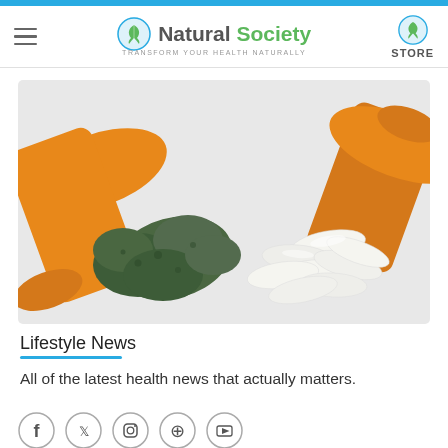Natural Society — Transform your health naturally | STORE
[Figure (photo): Two orange prescription pill bottles tipped over on a white surface — the left spilling green cannabis buds, the right spilling white capsule pills.]
Lifestyle News
All of the latest health news that actually matters.
[Figure (other): Row of social media icons: Facebook, Twitter, Instagram, Pinterest, YouTube — each in a circle outline.]